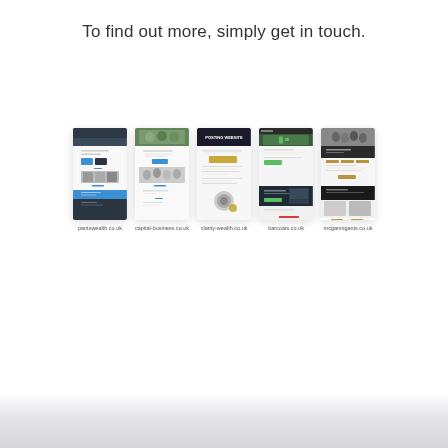To find out more, simply get in touch.
[Figure (screenshot): Five website screenshot thumbnails displayed in a row showing different financial/business websites]
pantswealth.co.uk
capital-business.co.uk
clarity-wealth.co.uk
barcoats.co.uk
mcgannigants.co.uk